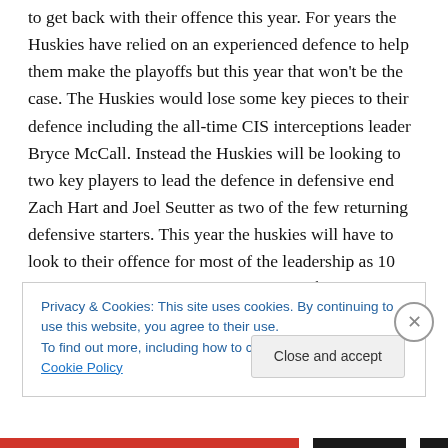to get back with their offence this year. For years the Huskies have relied on an experienced defence to help them make the playoffs but this year that won't be the case. The Huskies would lose some key pieces to their defence including the all-time CIS interceptions leader Bryce McCall. Instead the Huskies will be looking to two key players to lead the defence in defensive end Zach Hart and Joel Seutter as two of the few returning defensive starters. This year the huskies will have to look to their offence for most of the leadership as 10 starters return this year. That includes 2nd year QB Drew Burko
Privacy & Cookies: This site uses cookies. By continuing to use this website, you agree to their use.
To find out more, including how to control cookies, see here: Cookie Policy